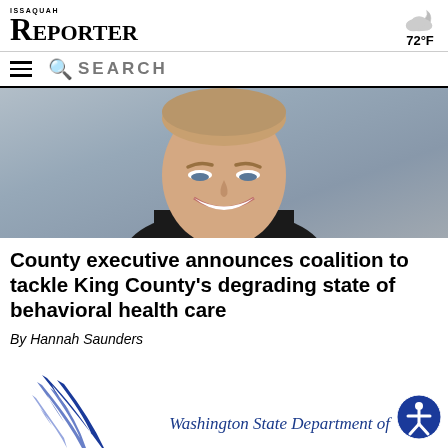ISSAQUAH REPORTER
72°F
SEARCH
[Figure (photo): Close-up headshot of a smiling man in a dark suit, gray background]
County executive announces coalition to tackle King County's degrading state of behavioral health care
By Hannah Saunders
[Figure (logo): Partial Washington State Department of (logo with blue feather/pen graphic) and accessibility icon button]